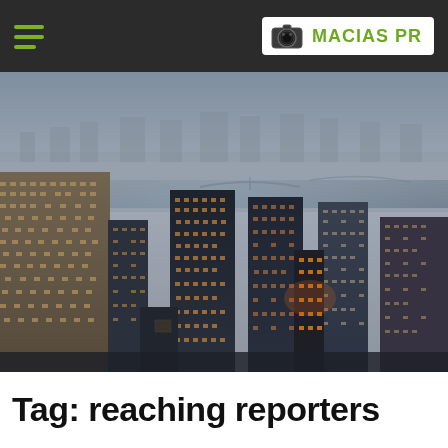Macias PR
[Figure (photo): Aerial cityscape of New York City skyscrapers at dusk, with illuminated building windows, a river and bridges visible in the background, foggy atmosphere]
Tag: reaching reporters